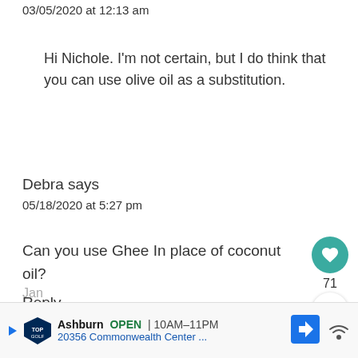03/05/2020 at 12:13 am
Hi Nichole. I’m not certain, but I do think that you can use olive oil as a substitution.
Debra says
05/18/2020 at 5:27 pm
Can you use Ghee In place of coconut oil?
Reply
Jan
[Figure (screenshot): Ad banner for TopGolf Ashburn: OPEN 10AM-11PM, 20356 Commonwealth Center...]